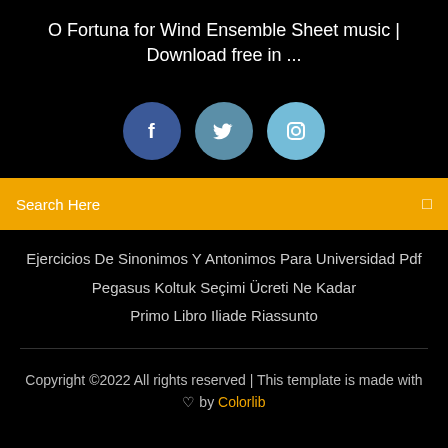O Fortuna for Wind Ensemble Sheet music | Download free in ...
[Figure (illustration): Three social media icons: Facebook (dark blue circle with f), Twitter (medium blue circle with bird), Instagram (light blue circle with camera)]
Search Here
Ejercicios De Sinonimos Y Antonimos Para Universidad Pdf
Pegasus Koltuk Seçimi Ücreti Ne Kadar
Primo Libro Iliade Riassunto
Copyright ©2022 All rights reserved | This template is made with ♡ by Colorlib